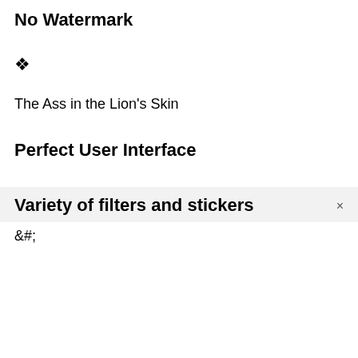No Watermark
◆
The Ass in the Lion's Skin
Perfect User Interface
◆
&#;
Variety of filters and stickers